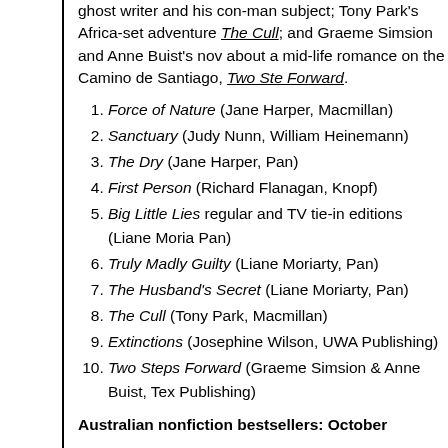ghost writer and his con-man subject; Tony Park's Africa-set adventure The Cull; and Graeme Simsion and Anne Buist's novel about a mid-life romance on the Camino de Santiago, Two Steps Forward.
Force of Nature (Jane Harper, Macmillan)
Sanctuary (Judy Nunn, William Heinemann)
The Dry (Jane Harper, Pan)
First Person (Richard Flanagan, Knopf)
Big Little Lies regular and TV tie-in editions (Liane Moriarty, Pan)
Truly Madly Guilty (Liane Moriarty, Pan)
The Husband's Secret (Liane Moriarty, Pan)
The Cull (Tony Park, Macmillan)
Extinctions (Josephine Wilson, UWA Publishing)
Two Steps Forward (Graeme Simsion & Anne Buist, Text Publishing)
Australian nonfiction bestsellers: October
The second instalment in Australian rockstar Jimmy Barnes' award-winning memoir, Working Class Man, has debuted in the Australian nonfiction bestsellers chart in October in second place, while the first instalment, Working Class Boy, sits in fifth place. Several new health and wellbeing titles have also entered the charts this month.